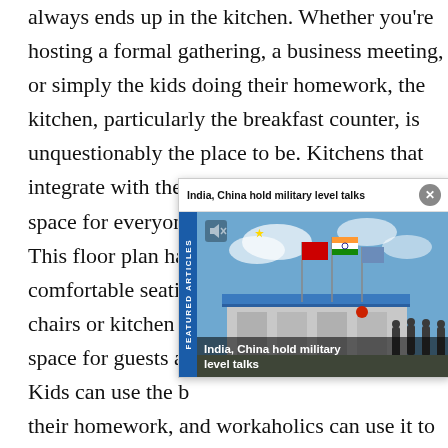always ends up in the kitchen. Whether you’re hosting a formal gathering, a business meeting, or simply the kids doing their homework, the kitchen, particularly the breakfast counter, is unquestionably the place to be. Kitchens that integrate with the living room provide enough space for everyone.
[Figure (screenshot): Featured articles overlay showing news item: 'India, China hold military level talks' with a photo of Chinese and Indian flags flying in front of a building with military personnel.]
This floor plan has comfortable seating chairs or kitchen s space for guests ar Kids can use the b their homework, and workaholics can use it to get their work done.